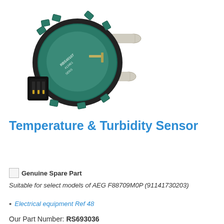[Figure (photo): A Temperature & Turbidity Sensor component — a circular device with teal/green plastic housing, black rubber seal ring, connector pins at the front, and two white/beige plastic tube ports extending from the sides. The component is photographed on a white background at an angle.]
Temperature & Turbidity Sensor
Genuine Spare Part  Genuine Spare Part
Suitable for select models of AEG F88709M0P (91141730203)
Electrical equipment Ref 48
Our Part Number:  RS693036